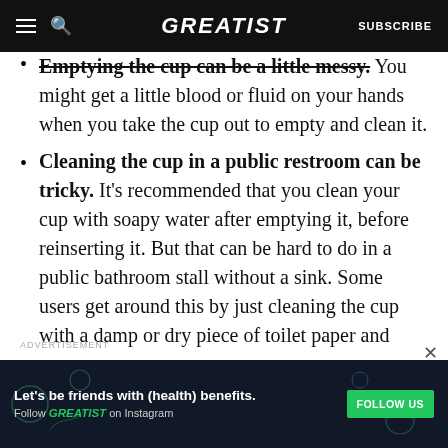GREATIST | SUBSCRIBE
Emptying the cup can be a little messy. You might get a little blood or fluid on your hands when you take the cup out to empty and clean it.
Cleaning the cup in a public restroom can be tricky. It's recommended that you clean your cup with soapy water after emptying it, before reinserting it. But that can be hard to do in a public bathroom stall without a sink. Some users get around this by just cleaning the cup with a damp or dry piece of toilet paper and
ADVERTISEMENT
Let's be friends with (health) benefits. Follow GREATIST on Instagram FOLLOW US